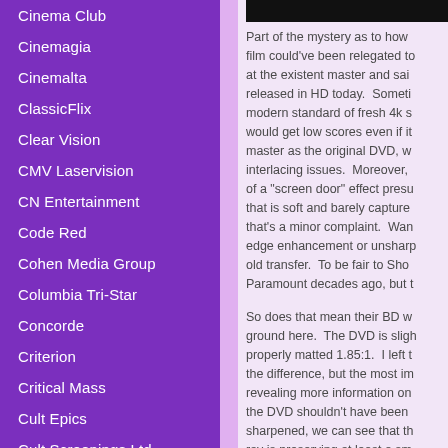Cinema Club
Cinemagia
Cinemalta
ClassicFlix
Clear Vision
CMV Laservision
CN Entertainment
Code Red
Cohen Media Group
Columbia Tri-Star
Concorde
Criterion
Critical Mass
Cult Epics
Cult Screenings Ltd
Cult Video
[Figure (photo): Dark/black rectangular image at top right]
Part of the mystery as to how film could've been relegated to at the existent master and sai released in HD today.  Someti modern standard of fresh 4k s would get low scores even if it master as the original DVD, w interlacing issues.  Moreover, of a "screen door" effect presu that is soft and barely capture that's a minor complaint.  Wan edge enhancement or unsharp old transfer.  To be fair to Sho Paramount decades ago, but t
So does that mean their BD w ground here.  The DVD is sligh properly matted 1.85:1.  I left t the difference, but the most im revealing more information on the DVD shouldn't have been sharpened, we can see that th ray is preserving at least a sm still a boost.